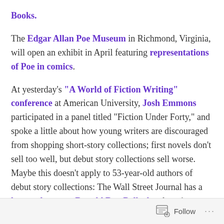Books.
The Edgar Allan Poe Museum in Richmond, Virginia, will open an exhibit in April featuring representations of Poe in comics.
At yesterday's "A World of Fiction Writing" conference at American University, Josh Emmons participated in a panel titled "Fiction Under Forty," and spoke a little about how young writers are discouraged from shopping short-story collections; first novels don't sell too well, but debut story collections sell worse. Maybe this doesn't apply to 53-year-old authors of debut story collections: The Wall Street Journal has a large takeout on Donald Ray Pollock, a longtime paper-mill worker whose first collection of short stories, Knockemstiff, comes out next month. (Sorry, that's connected short
Follow ···